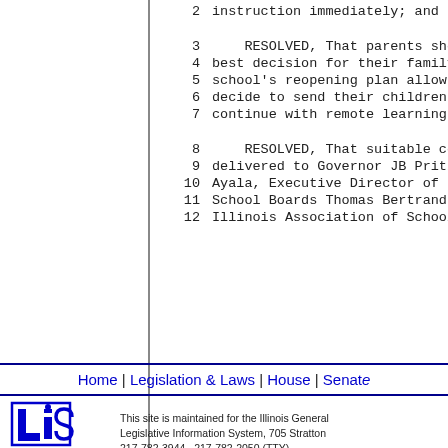2    instruction immediately; and be
3        RESOLVED, That parents shou
4    best decision for their family
5    school's reopening plan allow p
6    decide to send their children t
7    continue with remote learning;
8        RESOLVED, That suitable cop
9    delivered to Governor JB Pritzk
10   Ayala, Executive Director of th
11   School Boards Thomas Bertrand,
12   Illinois Association of School
Home | Legislation & Laws | House | Senate
This site is maintained for the Illinois Gene... Legislative Information System, 705 Stratto... 217-782-3944   217-782-2050 (TTY)